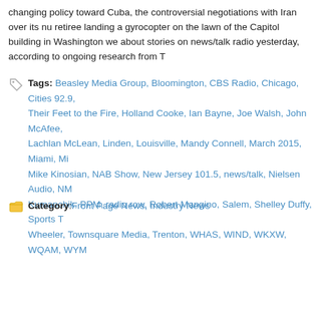changing policy toward Cuba, the controversial negotiations with Iran over its nu retiree landing a gyrocopter on the lawn of the Capitol building in Washington we about stories on news/talk radio yesterday, according to ongoing research from T
Tags: Beasley Media Group, Bloomington, CBS Radio, Chicago, Cities 92.9, Their Feet to the Fire, Holland Cooke, Ian Bayne, Joe Walsh, John McAfee, Lachlan McLean, Linden, Louisville, Mandy Connell, March 2015, Miami, Mi Mike Kinosian, NAB Show, New Jersey 101.5, news/talk, Nielsen Audio, NM Kumanchik, PPM, radio row, Robert Mangino, Salem, Shelley Duffy, Sports T Wheeler, Townsquare Media, Trenton, WHAS, WIND, WKXW, WQAM, WYM
Category: Front Page News, Industry News